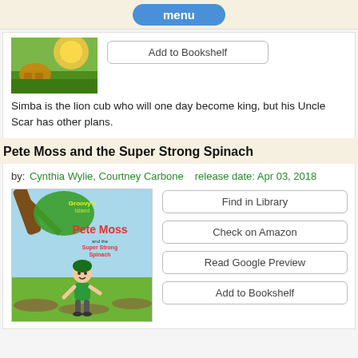menu
[Figure (photo): Book cover showing lion cub scene (Lion King / Simba)]
Add to Bookshelf
Simba is the lion cub who will one day become king, but his Uncle Scar has other plans.
Pete Moss and the Super Strong Spinach
by: Cynthia Wylie, Courtney Carbone   release date: Apr 03, 2018
[Figure (photo): Book cover for Pete Moss and the Super Strong Spinach showing cartoon boy character in a farm setting]
Find in Library
Check on Amazon
Read Google Preview
Add to Bookshelf